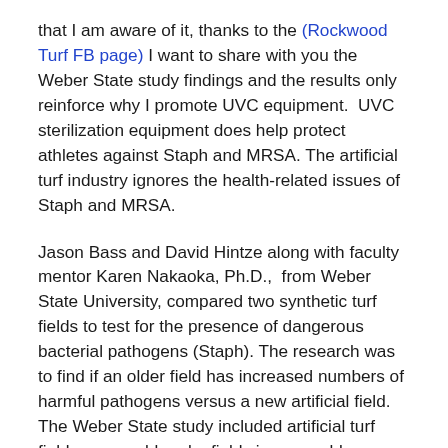that I am aware of it, thanks to the (Rockwood Turf FB page) I want to share with you the Weber State study findings and the results only reinforce why I promote UVC equipment.  UVC sterilization equipment does help protect athletes against Staph and MRSA. The artificial turf industry ignores the health-related issues of Staph and MRSA.
Jason Bass and David Hintze along with faculty mentor Karen Nakaoka, Ph.D.,  from Weber State University, compared two synthetic turf fields to test for the presence of dangerous bacterial pathogens (Staph). The research was to find if an older field has increased numbers of harmful pathogens versus a new artificial field.  The Weber State study included artificial turf fields a year old and a field six years old.
COMPARISON OF THE TWO STUDIES